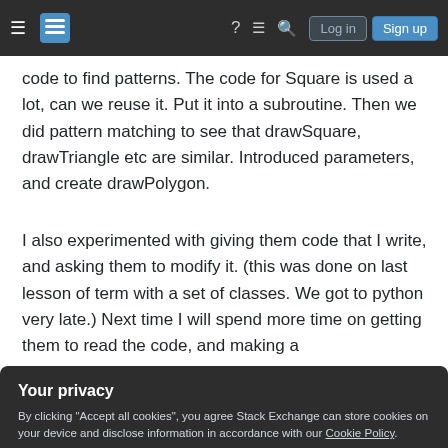Stack Exchange navigation bar with hamburger menu, logo, help, chat, search icons, Log in and Sign up buttons
code to find patterns. The code for Square is used a lot, can we reuse it. Put it into a subroutine. Then we did pattern matching to see that drawSquare, drawTriangle etc are similar. Introduced parameters, and create drawPolygon.
I also experimented with giving them code that I write, and asking them to modify it. (this was done on last lesson of term with a set of classes. We got to python very late.) Next time I will spend more time on getting them to read the code, and making a
Your privacy
By clicking "Accept all cookies", you agree Stack Exchange can store cookies on your device and disclose information in accordance with our Cookie Policy.
Readability is the most important property of